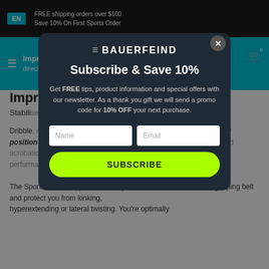EN  FREE shipping orders over $100  Save 10% On First Sports Order
Improve... direction...
Improve
Stabilise to... direction...
Dribble, move on... count in basketball. You need a secure standing position to ensure your sub... posed to high loads thanks to fast and acrobatic changes to direction. Joints must be protected for optimum performance.
The Sports Ankle Support stabilise your ankles with an innovating taping belt and protect you from kinking, hyperextending or lateral twisting. You're optimally
[Figure (screenshot): Modal popup for Bauerfeind newsletter subscription. Contains Bauerfeind logo, title 'Subscribe & Save 10%', description text, Name and Email input fields, and a green SUBSCRIBE button.]